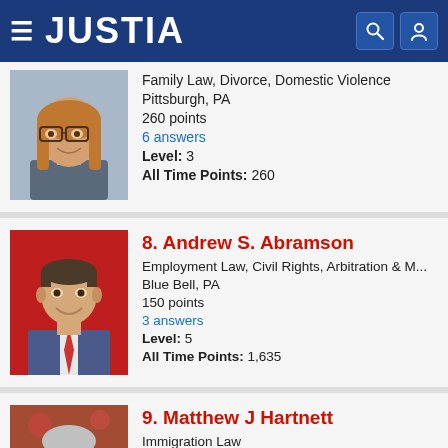JUSTIA
Family Law, Divorce, Domestic Violence
Pittsburgh, PA
260 points
6 answers
Level: 3
All Time Points: 260
8. Andrew S. Abramson
Employment Law, Civil Rights, Arbitration & M...
Blue Bell, PA
150 points
3 answers
Level: 5
All Time Points: 1,635
9. Matthew J Hartnett
Immigration Law